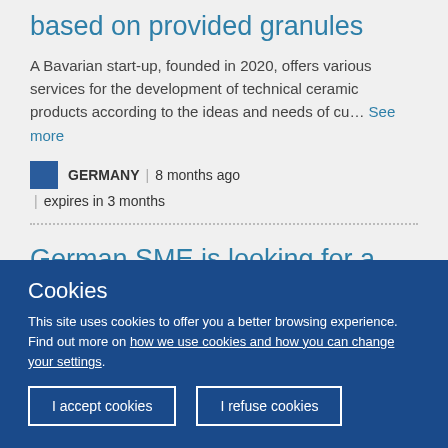based on provided granules
A Bavarian start-up, founded in 2020, offers various services for the development of technical ceramic products according to the ideas and needs of cu… See more
GERMANY | 8 months ago | expires in 3 months
German SME is looking for a subcontractor from Poland or
Cookies
This site uses cookies to offer you a better browsing experience. Find out more on how we use cookies and how you can change your settings.
I accept cookies   I refuse cookies